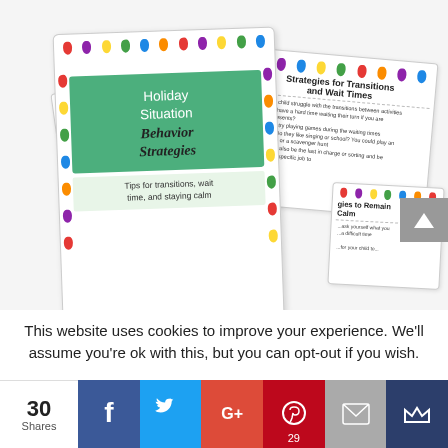[Figure (illustration): Preview of holiday-themed behavior strategy worksheets/cards fanned out, including 'Holiday Situation Behavior Strategies', 'Behavior Strategies', 'Strategies for Transitions and Wait Times', and 'Strategies to Remain Calm'. Each card has colorful Christmas light decorations around the border.]
This website uses cookies to improve your experience. We'll assume you're ok with this, but you can opt-out if you wish.
30 Shares | Facebook | Twitter | Google+ | Pinterest 29 | Email | Share